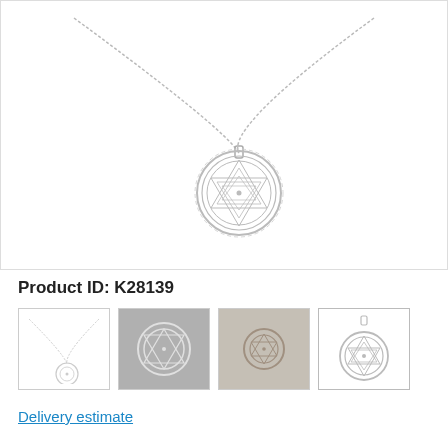[Figure (photo): Silver necklace with a circular Sri Yantra / mandala-style filigree pendant hanging on a delicate chain, displayed on white background.]
Product ID: K28139
[Figure (photo): Four thumbnail images of the necklace: (1) full necklace on white, (2) close-up of pendant on gray, (3) pendant laid on wood surface, (4) pendant close-up on white.]
Delivery estimate